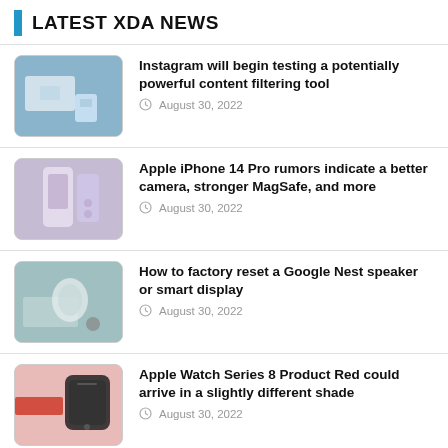LATEST XDA NEWS
Instagram will begin testing a potentially powerful content filtering tool — August 30, 2022
Apple iPhone 14 Pro rumors indicate a better camera, stronger MagSafe, and more — August 30, 2022
How to factory reset a Google Nest speaker or smart display — August 30, 2022
Apple Watch Series 8 Product Red could arrive in a slightly different shade — August 30, 2022
Samsung Galaxy Z Flip 4 vs Samsung Galaxy Z Flip 3: Is the new clamshell worth upgrading? — August 30, 2022